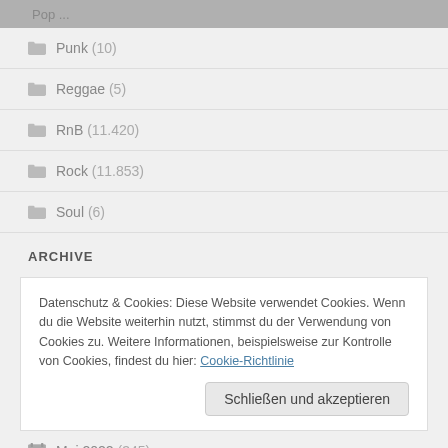Pop ...
Punk (10)
Reggae (5)
RnB (11.420)
Rock (11.853)
Soul (6)
ARCHIVE
Datenschutz & Cookies: Diese Website verwendet Cookies. Wenn du die Website weiterhin nutzt, stimmst du der Verwendung von Cookies zu. Weitere Informationen, beispielsweise zur Kontrolle von Cookies, findest du hier: Cookie-Richtlinie
Schließen und akzeptieren
Mai 2022 (345)